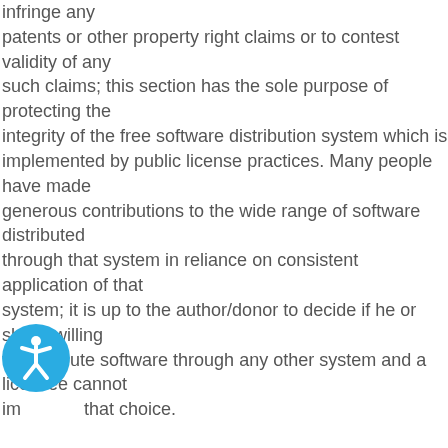infringe any patents or other property right claims or to contest validity of any such claims; this section has the sole purpose of protecting the integrity of the free software distribution system which is implemented by public license practices. Many people have made generous contributions to the wide range of software distributed through that system in reliance on consistent application of that system; it is up to the author/donor to decide if he or she is willing to distribute software through any other system and a licensee cannot impose that choice.
This section is intended to make thoroughly clear what is
[Figure (illustration): Circular accessibility icon with a blue background showing a stylized person figure in white]